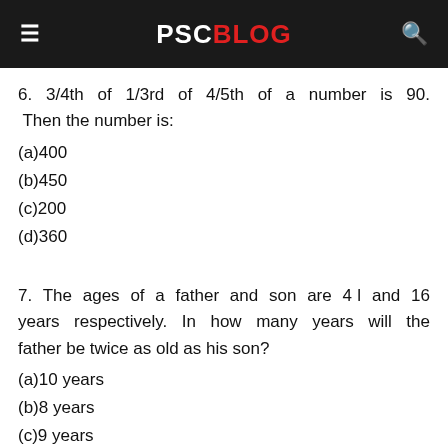PSC BLOG
6.  3/4th  of  1/3rd  of  4/5th  of  a  number  is  90.  Then the number is:
(a)400
(b)450
(c)200
(d)360
7.  The  ages  of  a  father  and  son  are  4 l  and  16 years  respectively.  In  how  many  years  will  the father be twice as old as his son?
(a)10 years
(b)8 years
(c)9 years
(d)12 years